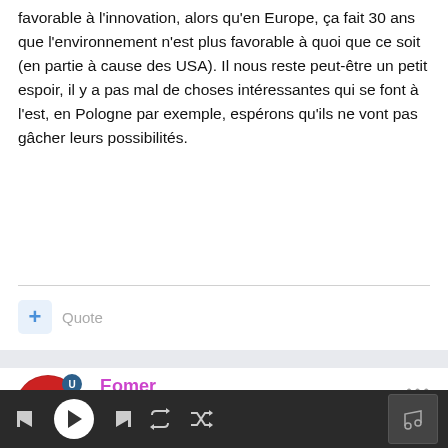favorable à l'innovation, alors qu'en Europe, ça fait 30 ans que l'environnement n'est plus favorable à quoi que ce soit (en partie à cause des USA). Il nous reste peut-être un petit espoir, il y a pas mal de choses intéressantes qui se font à l'est, en Pologne par exemple, espérons qu'ils ne vont pas gâcher leurs possibilités.
Quote
Eomer
Posted January 20, 2012
Justement, c'est pas en restant sur la domination des États-Unis que l'Europe sera attractive.
[Figure (other): Media player bar with skip back, play, skip forward, repeat, shuffle buttons and album art icon]